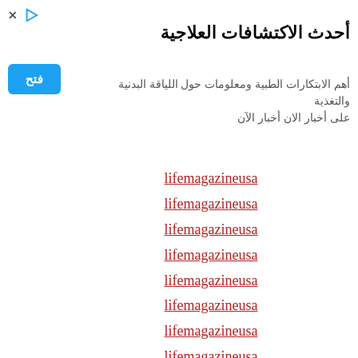[Figure (screenshot): Advertisement banner with Arabic title 'أحدث الاكتشافات العلاجية', subtitle in Arabic, and a blue 'فتح' (Open) button. Top-left has close (×) and play (▷) icons.]
lifemagazineusa
lifemagazineusa
lifemagazineusa
lifemagazineusa
lifemagazineusa
lifemagazineusa
lifemagazineusa
lifemagazineusa
lifemagazineusa
lifemagazineusa
lifemagazineusa
lifemagazineusa
lifemagazineusa
lifemagazineusa
lifemagazineusa
lifemagazineusa